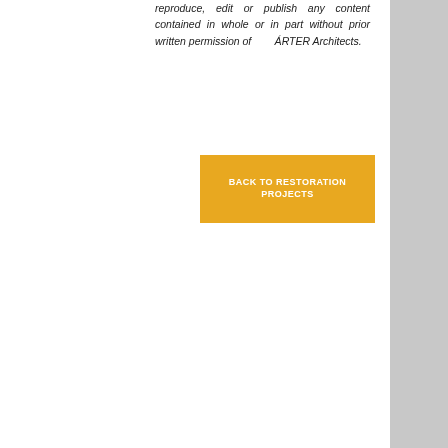reproduce, edit or publish any content contained in whole or in part without prior written permission of       ÁRTER Architects.
BACK TO RESTORATION PROJECTS